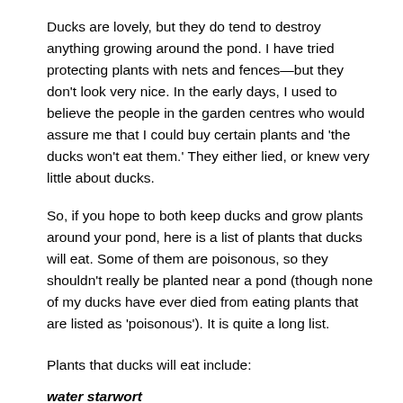Ducks are lovely, but they do tend to destroy anything growing around the pond. I have tried protecting plants with nets and fences—but they don't look very nice. In the early days, I used to believe the people in the garden centres who would assure me that I could buy certain plants and 'the ducks won't eat them.' They either lied, or knew very little about ducks.
So, if you hope to both keep ducks and grow plants around your pond, here is a list of plants that ducks will eat. Some of them are poisonous, so they shouldn't really be planted near a pond (though none of my ducks have ever died from eating plants that are listed as 'poisonous'). It is quite a long list.
Plants that ducks will eat include:
water starwort
hornwort
willow moss
frog's lettuce
mare's-tail